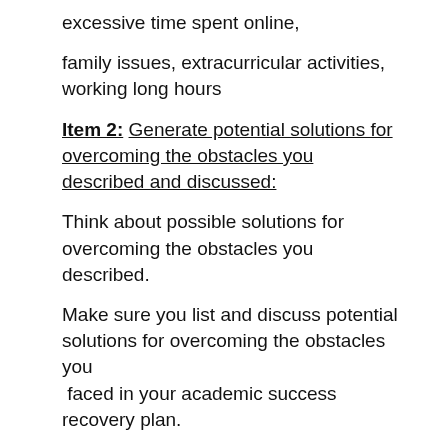excessive time spent online,
family issues, extracurricular activities, working long hours
Item 2: Generate potential solutions for overcoming the obstacles you described and discussed:
Think about possible solutions for overcoming the obstacles you described.
Make sure you list and discuss potential solutions for overcoming the obstacles you
 faced in your academic success recovery plan.
Item 3: Commit to workable and achievable solutions:
What are the most achievable solutions you are willing to